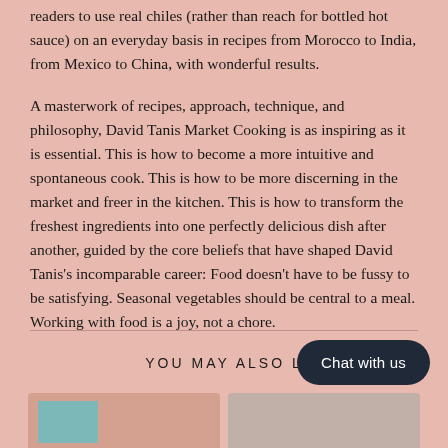readers to use real chiles (rather than reach for bottled hot sauce) on an everyday basis in recipes from Morocco to India, from Mexico to China, with wonderful results.
A masterwork of recipes, approach, technique, and philosophy, David Tanis Market Cooking is as inspiring as it is essential. This is how to become a more intuitive and spontaneous cook. This is how to be more discerning in the market and freer in the kitchen. This is how to transform the freshest ingredients into one perfectly delicious dish after another, guided by the core beliefs that have shaped David Tanis's incomparable career: Food doesn't have to be fussy to be satisfying. Seasonal vegetables should be central to a meal. Working with food is a joy, not a chore.
YOU MAY ALSO
Chat with us